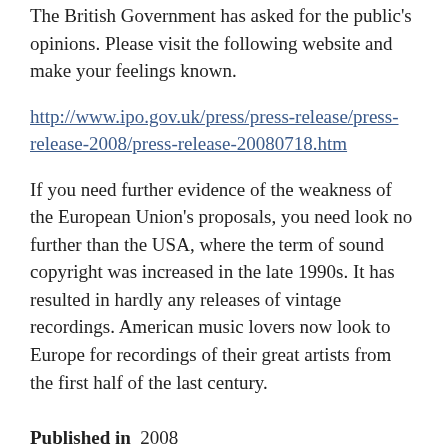The British Government has asked for the public's opinions. Please visit the following website and make your feelings known.
http://www.ipo.gov.uk/press/press-release/press-release-2008/press-release-20080718.htm
If you need further evidence of the weakness of the European Union's proposals, you need look no further than the USA, where the term of sound copyright was increased in the late 1990s. It has resulted in hardly any releases of vintage recordings. American music lovers now look to Europe for recordings of their great artists from the first half of the last century.
Published in  2008
Read more...